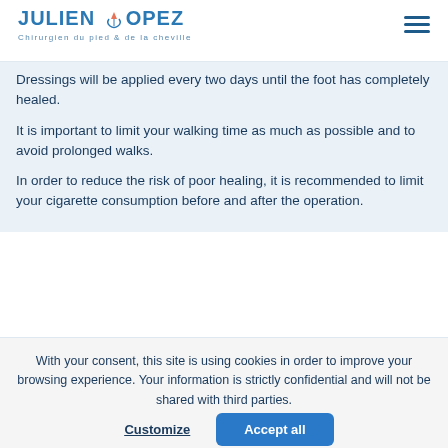Julien Lopez — Chirurgien du pied & de la cheville
Dressings will be applied every two days until the foot has completely healed.
It is important to limit your walking time as much as possible and to avoid prolonged walks.
In order to reduce the risk of poor healing, it is recommended to limit your cigarette consumption before and after the operation.
With your consent, this site is using cookies in order to improve your browsing experience. Your information is strictly confidential and will not be shared with third parties.